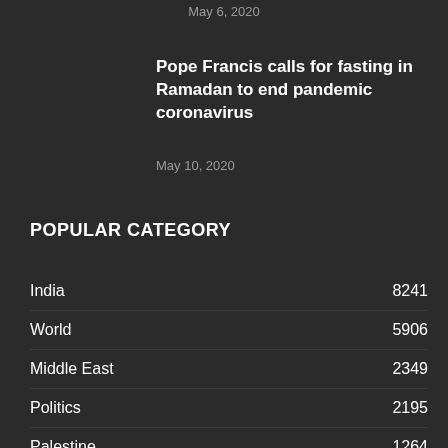May 6, 2020
Pope Francis calls for fasting in Ramadan to end pandemic coronavirus
May 10, 2020
POPULAR CATEGORY
India 8241
World 5906
Middle East 2349
Politics 2195
Palestine 1264
U.S. 1171
Hindi News 1039
Uttar Pradesh 738